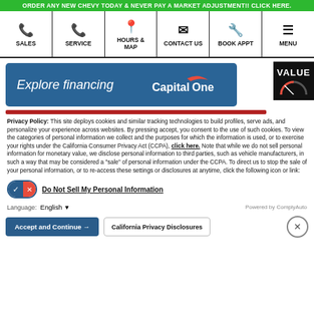ORDER ANY NEW CHEVY TODAY & NEVER PAY A MARKET ADJUSTMENT!! CLICK HERE.
[Figure (screenshot): Navigation bar with icons for SALES, SERVICE, HOURS & MAP, CONTACT US, BOOK APPT, MENU and a VALUE badge with gauge]
[Figure (screenshot): Explore financing banner with Capital One logo on a teal/blue background]
Privacy Policy: This site deploys cookies and similar tracking technologies to build profiles, serve ads, and personalize your experience across websites. By pressing accept, you consent to the use of such cookies. To view the categories of personal information we collect and the purposes for which the information is used, or to exercise your rights under the California Consumer Privacy Act (CCPA), click here. Note that while we do not sell personal information for monetary value, we disclose personal information to third parties, such as vehicle manufacturers, in such a way that may be considered a "sale" of personal information under the CCPA. To direct us to stop the sale of your personal information, or to re-access these settings or disclosures at anytime, click the following icon or link:
Do Not Sell My Personal Information
Language: English
Powered by ComplyAuto
Accept and Continue → California Privacy Disclosures